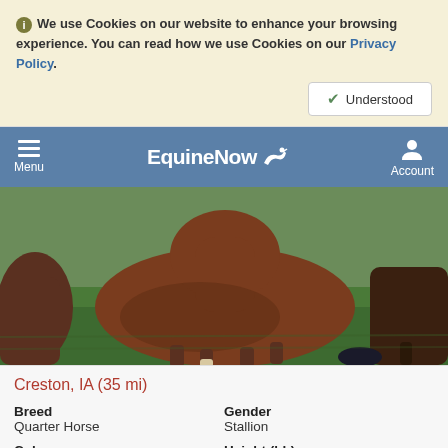ℹ We use Cookies on our website to enhance your browsing experience. You can read how we use Cookies on our Privacy Policy.
✔ Understood
EquineNow - Menu | Account
[Figure (photo): A chestnut horse (young foal or small horse) standing on green grass, photographed outdoors. Another horse visible partially on the left and right sides.]
Creston, IA (35 mi)
| Field | Value |
| --- | --- |
| Breed | Quarter Horse |
| Gender | Stallion |
| Color | Chestnut |
| Height (hh) | 15.1 |